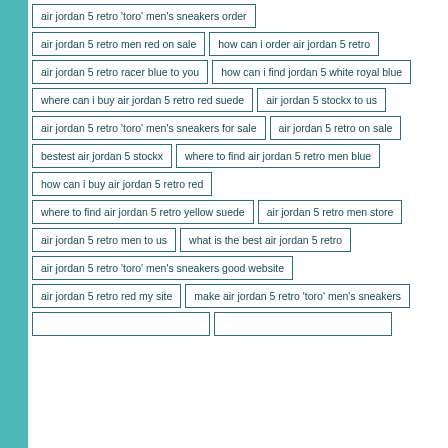air jordan 5 retro 'toro' men's sneakers order
air jordan 5 retro men red on sale
how can i order air jordan 5 retro
air jordan 5 retro racer blue to you
how can i find jordan 5 white royal blue
where can i buy air jordan 5 retro red suede
air jordan 5 stockx to us
air jordan 5 retro 'toro' men's sneakers for sale
air jordan 5 retro on sale
bestest air jordan 5 stockx
where to find air jordan 5 retro men blue
how can i buy air jordan 5 retro red
where to find air jordan 5 retro yellow suede
air jordan 5 retro men store
air jordan 5 retro men to us
what is the best air jordan 5 retro
air jordan 5 retro 'toro' men's sneakers good website
air jordan 5 retro red my site
make air jordan 5 retro 'toro' men's sneakers